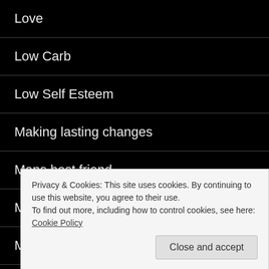Love
Low Carb
Low Self Esteem
Making lasting changes
Mans best friend
Masterpiece
Miracles
Moving forward
Name Above All Names
Privacy & Cookies: This site uses cookies. By continuing to use this website, you agree to their use.
To find out more, including how to control cookies, see here: Cookie Policy
Close and accept